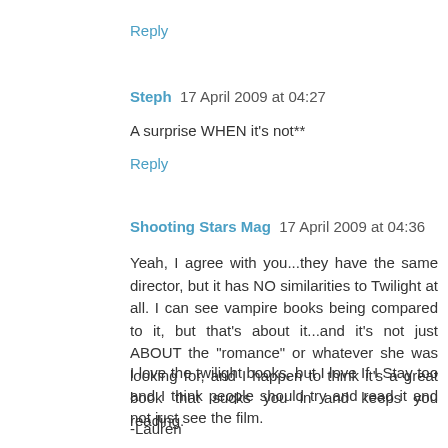Reply
Steph  17 April 2009 at 04:27
A surprise WHEN it's not**
Reply
Shooting Stars Mag  17 April 2009 at 04:36
Yeah, I agree with you...they have the same director, but it has NO similarities to Twilight at all. I can see vampire books being compared to it, but that's about it...and it's not just ABOUT the "romance" or whatever she was looking for, and I happen to think it's a great book that sucks you in and keeps you reading.
I love the twilight books, but I love If I Stay too and I think people should try and read it and not just see the film.
-Lauren